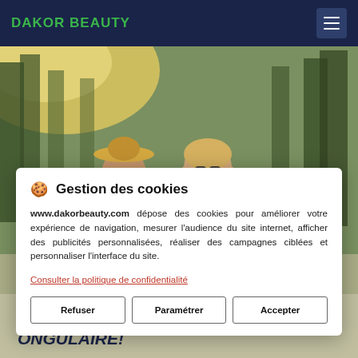DAKOR BEAUTY
[Figure (photo): Two young women smiling outdoors near a lake with trees and sunlight in background]
Gestion des cookies
www.dakorbeauty.com dépose des cookies pour améliorer votre expérience de navigation, mesurer l'audience du site internet, afficher des publicités personnalisées, réaliser des campagnes ciblées et personnaliser l'interface du site.
Consulter la politique de confidentialité
Refuser   Paramétrer   Accepter
NOUVELLE PROTHÉSISTE ONGULAIRE!